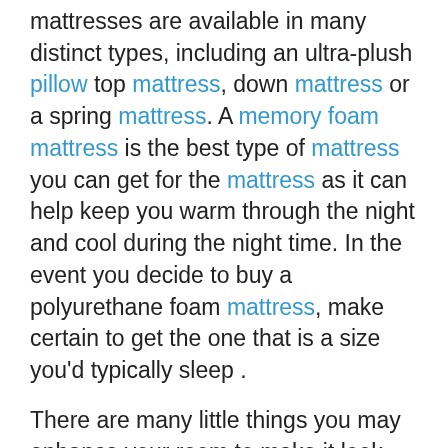mattresses are available in many distinct types, including an ultra-plush pillow top mattress, down mattress or a spring mattress. A memory foam mattress is the best type of mattress you can get for the mattress as it can help keep you warm through the night and cool during the night time. In the event you decide to buy a polyurethane foam mattress, make certain to get the one that is a size you'd typically sleep .
There are many little things you may enhance your room to make it look nicer. Adding a brand new rug is a excellent way to include extra seats into a room. A significant thing that folks have a tendency to overlook with an area is mirroring. Mirrors help